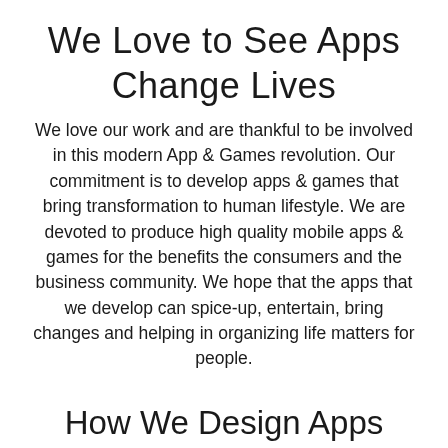We Love to See Apps Change Lives
We love our work and are thankful to be involved in this modern App & Games revolution. Our commitment is to develop apps & games that bring transformation to human lifestyle. We are devoted to produce high quality mobile apps & games for the benefits the consumers and the business community. We hope that the apps that we develop can spice-up, entertain, bring changes and helping in organizing life matters for people.
How We Design Apps
We design Apps combining: Creativity – Passion – Knowledge